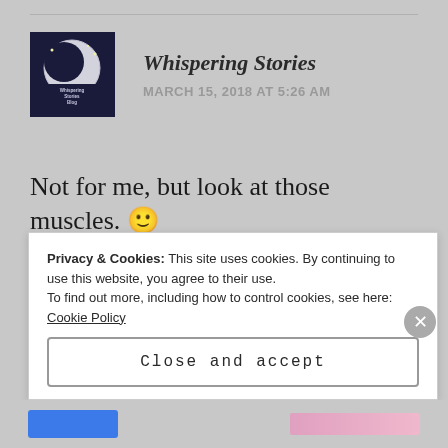[Figure (logo): Whispering Stories Blog circular logo with moon and silhouette on dark blue background]
Whispering Stories
MARCH 15, 2018 AT 5:26 AM
Not for me, but look at those muscles. 🙂
★ Liked by 1 person
Reply
Privacy & Cookies: This site uses cookies. By continuing to use this website, you agree to their use. To find out more, including how to control cookies, see here: Cookie Policy
Close and accept